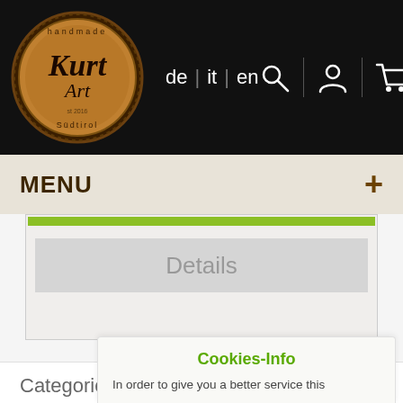[Figure (logo): KurtArt handmade Südtirol circular logo on black header background with language selectors de | it | en and search, user, cart icons]
MENU
[Figure (screenshot): Green progress bar and Details button on a light gray card]
Categories
Information
My account
Cookies-Info
In order to give you a better service this